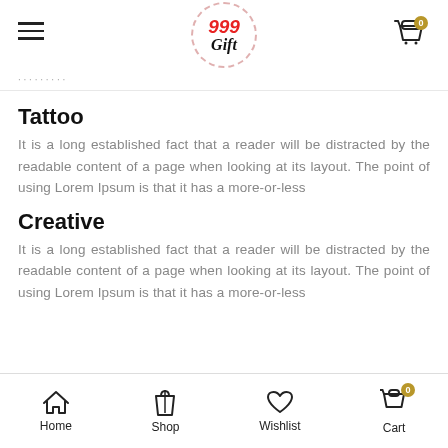999 Gift
Tattoo
It is a long established fact that a reader will be distracted by the readable content of a page when looking at its layout. The point of using Lorem Ipsum is that it has a more-or-less
Creative
It is a long established fact that a reader will be distracted by the readable content of a page when looking at its layout. The point of using Lorem Ipsum is that it has a more-or-less
Home  Shop  Wishlist  Cart